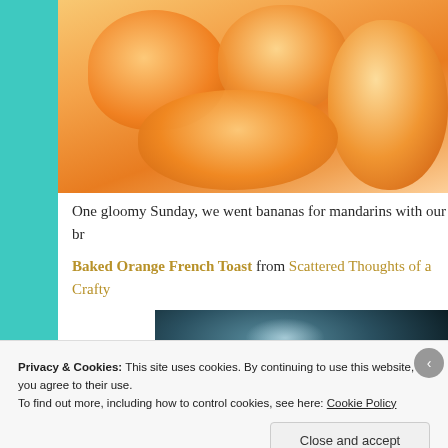[Figure (photo): Close-up photo of peeled mandarin orange segments on a light surface]
One gloomy Sunday, we went bananas for mandarins with our br
Baked Orange French Toast from Scattered Thoughts of a Crafty…
[Figure (photo): Dark bowl or plate photographed from above on a dark background]
Privacy & Cookies: This site uses cookies. By continuing to use this website, you agree to their use.
To find out more, including how to control cookies, see here: Cookie Policy
Close and accept